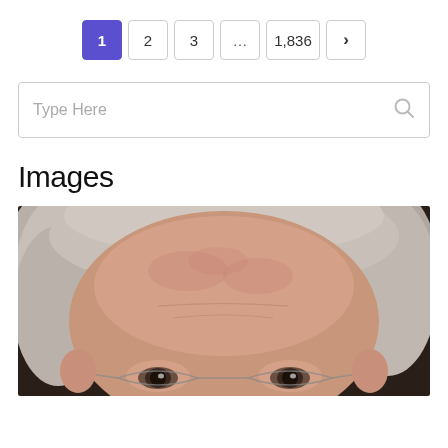[Figure (screenshot): Pagination control showing page 1 active (purple), pages 2, 3, ellipsis, 1836, and next arrow button]
[Figure (screenshot): Search input box with placeholder text 'Type Here' and a search icon on the right]
Images
[Figure (photo): Close-up photograph of an elderly person with gray/white hair and glasses, dark background]